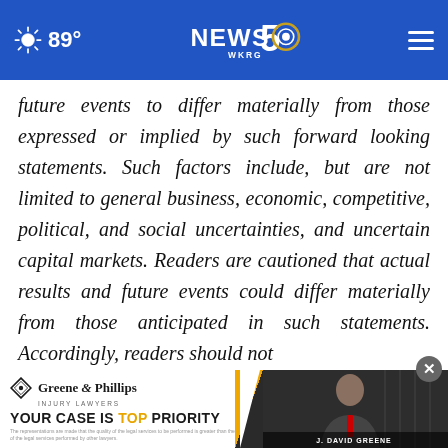89° NEWS 5 WKRG
future events to differ materially from those expressed or implied by such forward looking statements. Such factors include, but are not limited to general business, economic, competitive, political, and social uncertainties, and uncertain capital markets. Readers are cautioned that actual results and future events could differ materially from those anticipated in such statements. Accordingly, readers should not place … looking state… any
[Figure (screenshot): Greene & Phillips Injury Lawyers advertisement overlay at bottom of page, with logo, tagline 'YOUR CASE IS TOP PRIORITY', and photo of J. David Greene. A close button (X) appears in the top-right of the ad.]